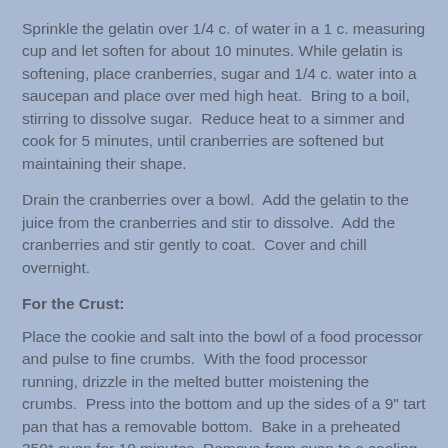Sprinkle the gelatin over 1/4 c. of water in a 1 c. measuring cup and let soften for about 10 minutes. While gelatin is softening, place cranberries, sugar and 1/4 c. water into a saucepan and place over med high heat.  Bring to a boil, stirring to dissolve sugar.  Reduce heat to a simmer and cook for 5 minutes, until cranberries are softened but maintaining their shape.
Drain the cranberries over a bowl.  Add the gelatin to the juice from the cranberries and stir to dissolve.  Add the cranberries and stir gently to coat.  Cover and chill overnight.
For the Crust:
Place the cookie and salt into the bowl of a food processor and pulse to fine crumbs.  With the food processor running, drizzle in the melted butter moistening the crumbs.  Press into the bottom and up the sides of a 9" tart pan that has a removable bottom.  Bake in a preheated 350* oven for 10 minutes. Remove from oven to a cooling rack and allow to cool completely.